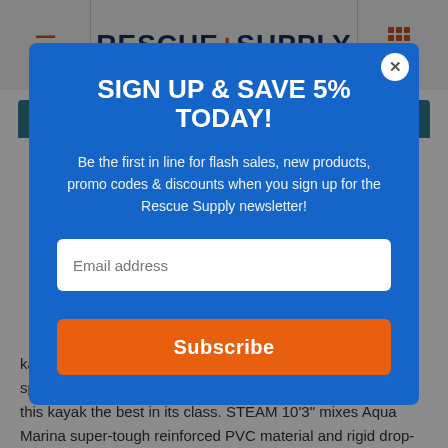RESCUE+SUPPLY
Description
SIGN UP & SAVE 5% TODAY!
Be the first in line for flash sales, new products, promo codes & discounts when you sign up for the Rescue Supply newsletter!
Email address
Subscribe
kayaks on the market. The combination of superior hull speed, outstanding durability, and tracking capabilities make this kayak the best in its class. STEAM 10'3" mixes Aqua Marina super-tough reinforced PVC material and rigid drop-